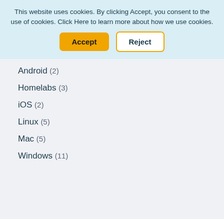This website uses cookies. By clicking Accept, you consent to the use of cookies. Click Here to learn more about how we use cookies.
Android (2)
Homelabs (3)
iOS (2)
Linux (5)
Mac (5)
Windows (11)